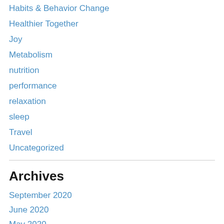Habits & Behavior Change
Healthier Together
Joy
Metabolism
nutrition
performance
relaxation
sleep
Travel
Uncategorized
Archives
September 2020
June 2020
May 2020
August 2019
July 2019
June 2019